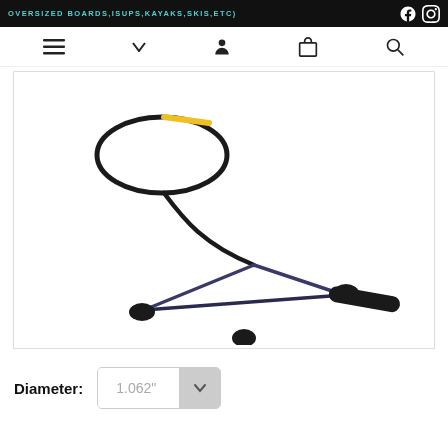OVERSIZED BOARDS, ISUPS, KAYAKS, SKIS, ETC)
[Figure (photo): A water sports tow rope/handle product — a wakeboard or water ski handle with black grip bar and braided rope with a yellow accent, forming a triangular shape, on a white background.]
Diameter: 1.062"